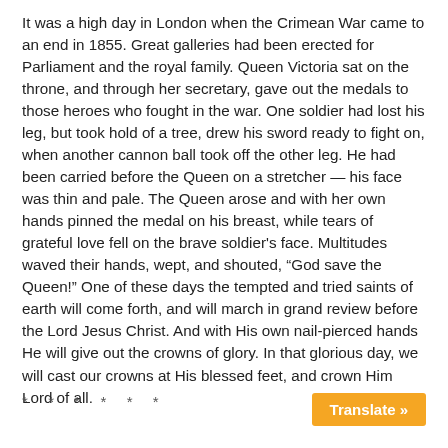It was a high day in London when the Crimean War came to an end in 1855. Great galleries had been erected for Parliament and the royal family. Queen Victoria sat on the throne, and through her secretary, gave out the medals to those heroes who fought in the war. One soldier had lost his leg, but took hold of a tree, drew his sword ready to fight on, when another cannon ball took off the other leg. He had been carried before the Queen on a stretcher — his face was thin and pale. The Queen arose and with her own hands pinned the medal on his breast, while tears of grateful love fell on the brave soldier's face. Multitudes waved their hands, wept, and shouted, “God save the Queen!” One of these days the tempted and tried saints of earth will come forth, and will march in grand review before the Lord Jesus Christ. And with His own nail-pierced hands He will give out the crowns of glory. In that glorious day, we will cast our crowns at His blessed feet, and crown Him Lord of all.
* * * * * *
Translate »